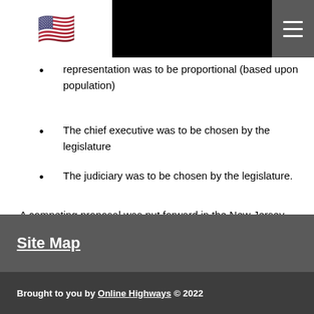representation was to be proportional (based upon population)
The chief executive was to be chosen by the legislature
The judiciary was to be chosen by the legislature.
A competing proposal was put forward in the New Jersey Plan.
Site Map
Brought to you by Online Highways © 2022